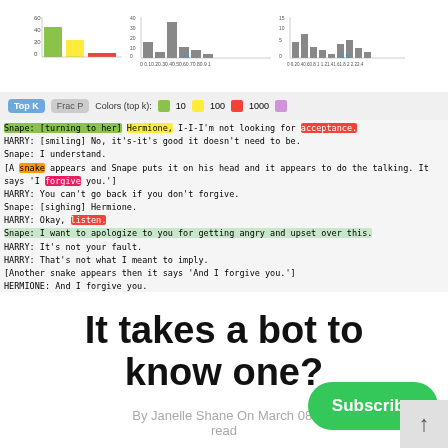[Figure (screenshot): Screenshot of a text annotation tool showing highlighted text from a Harry Potter fan-fiction script with controls for 'Top K' and 'Frac P' modes and color legend for k=10, 100, 1000]
It takes a bot to know one?
By Janelle Shane On March 08, read